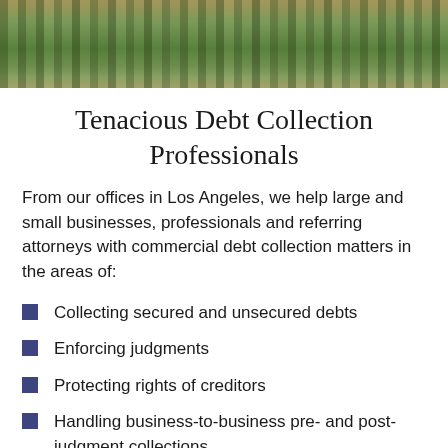[Figure (photo): Aerial or street-level photograph showing palm trees and colorful buildings, likely in Los Angeles. The image is cropped to show a horizontal banner of tropical scenery.]
Tenacious Debt Collection Professionals
From our offices in Los Angeles, we help large and small businesses, professionals and referring attorneys with commercial debt collection matters in the areas of:
Collecting secured and unsecured debts
Enforcing judgments
Protecting rights of creditors
Handling business-to-business pre- and post-judgment collections